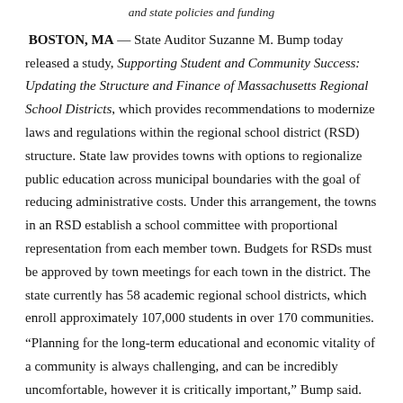and state policies and funding
BOSTON, MA — State Auditor Suzanne M. Bump today released a study, Supporting Student and Community Success: Updating the Structure and Finance of Massachusetts Regional School Districts, which provides recommendations to modernize laws and regulations within the regional school district (RSD) structure. State law provides towns with options to regionalize public education across municipal boundaries with the goal of reducing administrative costs. Under this arrangement, the towns in an RSD establish a school committee with proportional representation from each member town. Budgets for RSDs must be approved by town meetings for each town in the district. The state currently has 58 academic regional school districts, which enroll approximately 107,000 students in over 170 communities.
“Planning for the long-term educational and economic vitality of a community is always challenging, and can be incredibly uncomfortable, however it is critically important,” Bump said. “Ensuring student success in our regional school districts will require